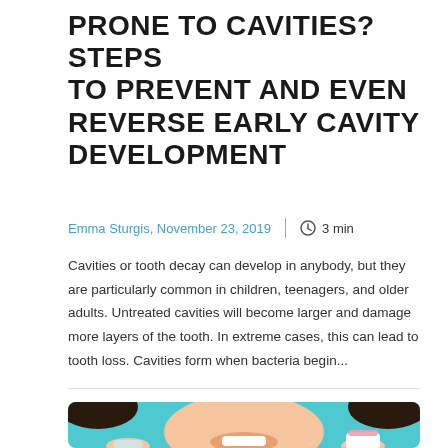PRONE TO CAVITIES? STEPS TO PREVENT AND EVEN REVERSE EARLY CAVITY DEVELOPMENT
Emma Sturgis, November 23, 2019  |  3 min
Cavities or tooth decay can develop in anybody, but they are particularly common in children, teenagers, and older adults. Untreated cavities will become larger and damage more layers of the tooth. In extreme cases, this can lead to tooth loss. Cavities form when bacteria begin...
[Figure (photo): Photo of a smiling young woman with dark hair holding dental/orthodontic models, with a teal/turquoise background]